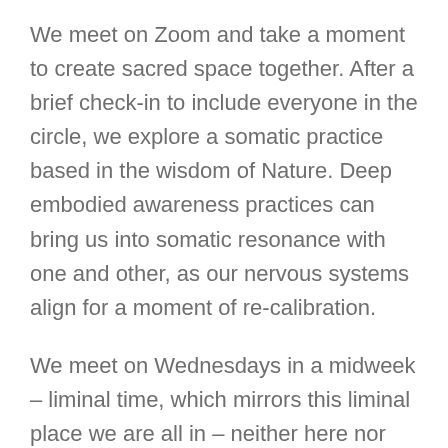We meet on Zoom and take a moment to create sacred space together. After a brief check-in to include everyone in the circle, we explore a somatic practice based in the wisdom of Nature. Deep embodied awareness practices can bring us into somatic resonance with one and other, as our nervous systems align for a moment of re-calibration.
We meet on Wednesdays in a midweek – liminal time, which mirrors this liminal place we are all in – neither here nor there, betwixt and between, in a slow and